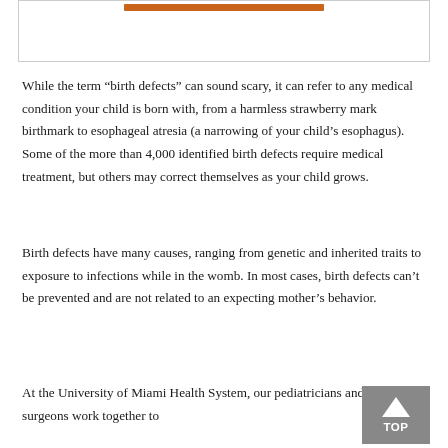[Figure (other): A bordered box at the top of the page with an orange horizontal bar near the top edge, likely a header or image placeholder.]
While the term “birth defects” can sound scary, it can refer to any medical condition your child is born with, from a harmless strawberry mark birthmark to esophageal atresia (a narrowing of your child’s esophagus). Some of the more than 4,000 identified birth defects require medical treatment, but others may correct themselves as your child grows.
Birth defects have many causes, ranging from genetic and inherited traits to exposure to infections while in the womb. In most cases, birth defects can’t be prevented and are not related to an expecting mother’s behavior.
At the University of Miami Health System, our pediatricians and pediatric surgeons work together to